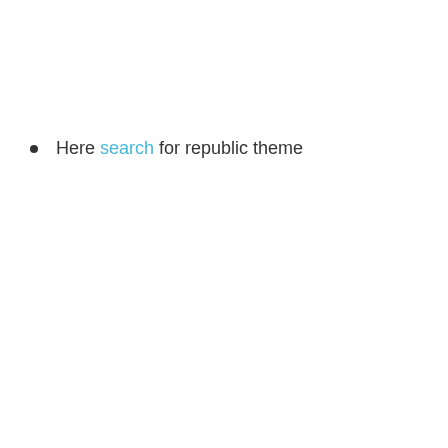Here search for republic theme